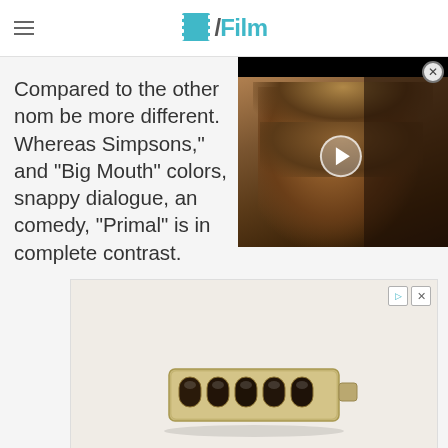/Film
Compared to the other nom be more different. Whereas Simpsons," and "Big Mouth" colors, snappy dialogue, an comedy, "Primal" is in complete contrast.
[Figure (screenshot): Video player overlay showing a bearded man, with a play button in the center and a close button in the top right corner]
[Figure (photo): Advertisement showing a gold bracelet/ring product with dark stone settings on a light background]
[Figure (screenshot): Advertisement showing an outdoor scene with trees and a mobile game interface with Hold and Move text]